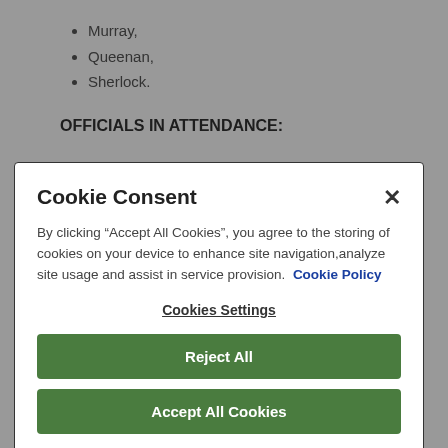Murray,
Queenan,
Sherlock.
OFFICIALS IN ATTENDANCE:
Mr T. Caffrey, Deputy County Manager
Cookie Consent

By clicking “Accept All Cookies”, you agree to the storing of cookies on your device to enhance site navigation,analyze site usage and assist in service provision.  Cookie Policy

Cookies Settings

Reject All

Accept All Cookies